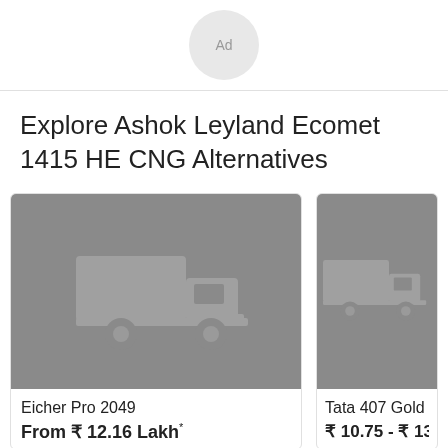[Figure (other): Ad placeholder circle button with text 'Ad']
Explore Ashok Leyland Ecomet 1415 HE CNG Alternatives
[Figure (illustration): Eicher Pro 2049 truck placeholder image (gray background with truck icon)]
Eicher Pro 2049
From ₹ 12.16 Lakh*
[Figure (illustration): Tata 407 Gold SFC truck placeholder image (gray background with truck icon, partially visible)]
Tata 407 Gold SFC
₹ 10.75 - ₹ 13.26